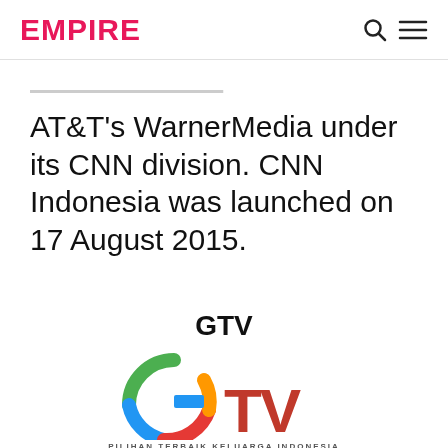EMPIRE
AT&T's WarnerMedia under its CNN division. CNN Indonesia was launched on 17 August 2015.
GTV
[Figure (logo): GTV logo with multicolored G and red TV letters, tagline PILIHAN TERBAIK KELUARGA INDONESIA]